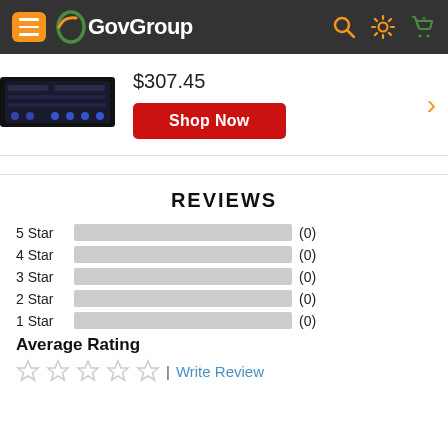[Figure (logo): GovGroup website header with hamburger menu, GovGroup logo, search icon, settings icon, and cart icon on dark background]
$307.45
Shop Now
REVIEWS
5 Star (0)
4 Star (0)
3 Star (0)
2 Star (0)
1 Star (0)
Average Rating
| Write Review